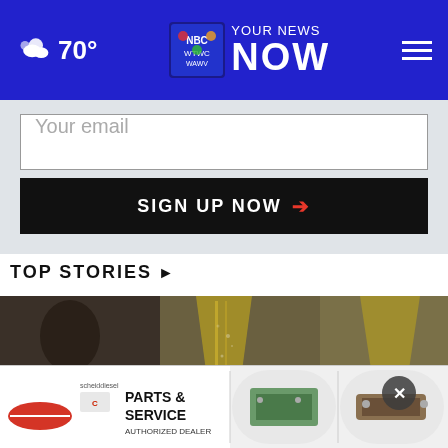[Figure (screenshot): Navigation header bar with weather (cloudy, 70°), WTWC/WAWV NBC2 Your News Now logo in center, hamburger menu on right, all on blue background]
[Figure (screenshot): Email signup form on light gray background with 'Your email' input field and 'SIGN UP NOW' black button with red arrow]
TOP STORIES ›
[Figure (photo): Photo showing champagne glasses filled with bubbly golden liquid against blurred background]
[Figure (screenshot): Advertisement banner for Scheid Diesel Parts & Service Authorized Dealer with product images]